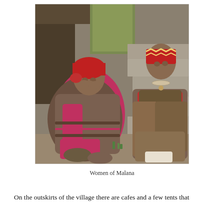[Figure (photo): Two elderly women of Malana sitting on stone steps. The woman on the left wears a red headscarf and bright pink clothing under a brown woolen wrap, with her hands raised near her face. The woman on the right wears a decorated cap with zigzag red pattern, red and brown clothing with a brown woolen wrap, sitting upright on the steps. Background shows wooden structures and stone steps.]
Women of Malana
On the outskirts of the village there are cafes and a few tents that